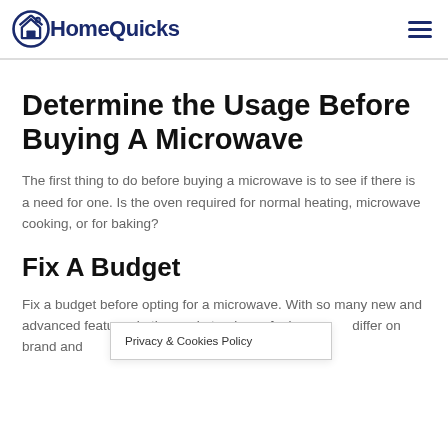HomeQuicks
Determine the Usage Before Buying A Microwave
The first thing to do before buying a microwave is to see if there is a need for one. Is the oven required for normal heating, microwave cooking, or for baking?
Fix A Budget
Fix a budget before opting for a microwave. With so many new and advanced features in the market, prices of microw... differ on brand and